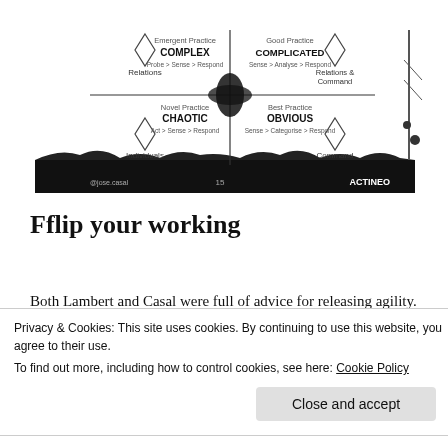[Figure (infographic): Cynefin framework diagram showing four quadrants: Complex (Emergent Practice, Probe > Sense > Respond), Complicated (Good Practice, Sense > Analyse > Respond), Chaotic (Novel Practice, Act > Sense > Respond), Obvious (Best Practice, Sense > Categorise > Respond). Diamond shapes at corners labeled Relations, Relations & Command, Individuals, Command. Black silhouette landscape at bottom. Watermark: @jose.casal, page 15, ACTINEO logo.]
Fflip your working
Both Lambert and Casal were full of advice for releasing agility. Lambert provide tips, five for making the most of
Privacy & Cookies: This site uses cookies. By continuing to use this website, you agree to their use.
To find out more, including how to control cookies, see here: Cookie Policy
Close and accept